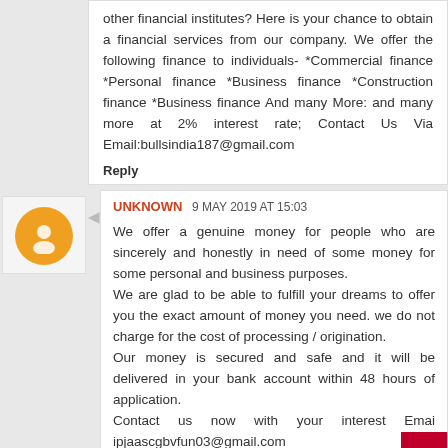other financial institutes? Here is your chance to obtain a financial services from our company. We offer the following finance to individuals- *Commercial finance *Personal finance *Business finance *Construction finance *Business finance And many More: and many more at 2% interest rate; Contact Us Via Email:bullsindia187@gmail.com
Reply
UNKNOWN 9 MAY 2019 AT 15:03
We offer a genuine money for people who are sincerely and honestly in need of some money for some personal and business purposes.
We are glad to be able to fulfill your dreams to offer you the exact amount of money you need. we do not charge for the cost of processing / origination.
Our money is secured and safe and it will be delivered in your bank account within 48 hours of application.
Contact us now with your interest Emai ipjaascgbvfun03@gmail.com
Reply
UNKNOWN 9 MAY 2019 AT 15:04